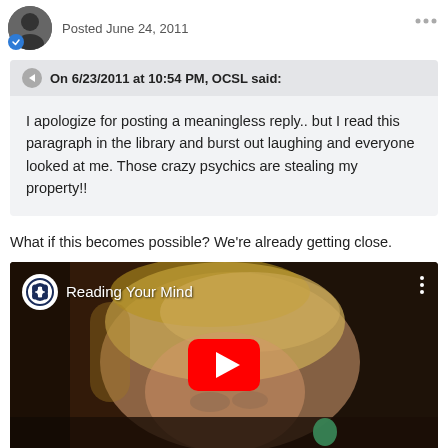Posted June 24, 2011
On 6/23/2011 at 10:54 PM, OCSL said:
I apologize for posting a meaningless reply.. but I read this paragraph in the library and burst out laughing and everyone looked at me. Those crazy psychics are stealing my property!!
What if this becomes possible? We're already getting close.
[Figure (screenshot): YouTube video thumbnail showing a woman with blonde hair, CBS logo in top left, title 'Reading Your Mind', with a red YouTube play button overlay in the center]